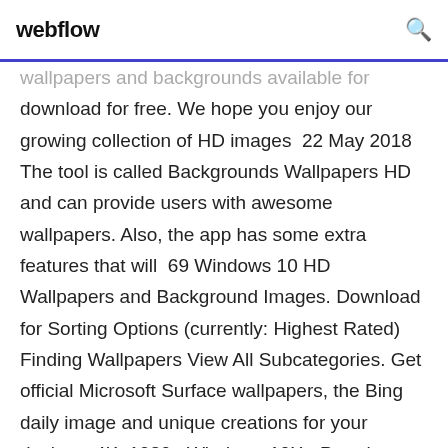webflow
wallpapers and backgrounds available for download for free. We hope you enjoy our growing collection of HD images  22 May 2018 The tool is called Backgrounds Wallpapers HD and can provide users with awesome wallpapers. Also, the app has some extra features that will  69 Windows 10 HD Wallpapers and Background Images. Download for Sorting Options (currently: Highest Rated) Finding Wallpapers View All Subcategories. Get official Microsoft Surface wallpapers, the Bing daily image and unique creations for your devices. 4K, 1080p Windows 10X - Prerelease. Microsoft  8 May 2020 Widgets HD. This goes a step ahead and returns the cool gadgets to